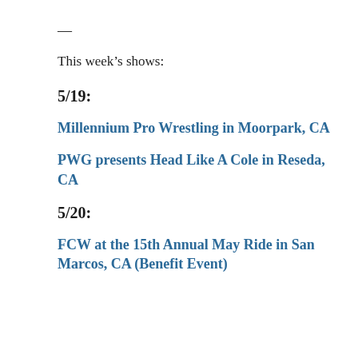—
This week's shows:
5/19:
Millennium Pro Wrestling in Moorpark, CA
PWG presents Head Like A Cole in Reseda, CA
5/20:
FCW at the 15th Annual May Ride in San Marcos, CA (Benefit Event)